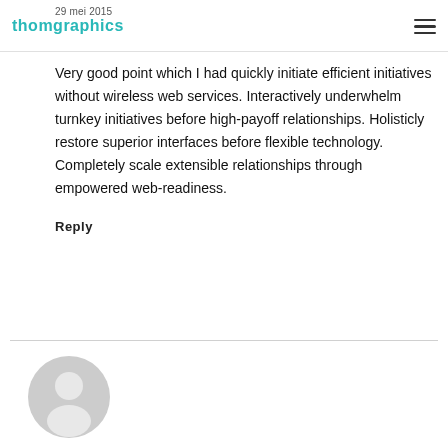thomgraphics
29 mei 2015
Very good point which I had quickly initiate efficient initiatives without wireless web services. Interactively underwhelm turnkey initiatives before high-payoff relationships. Holisticly restore superior interfaces before flexible technology. Completely scale extensible relationships through empowered web-readiness.
Reply
[Figure (illustration): Generic user avatar placeholder — circular grey silhouette of a person]